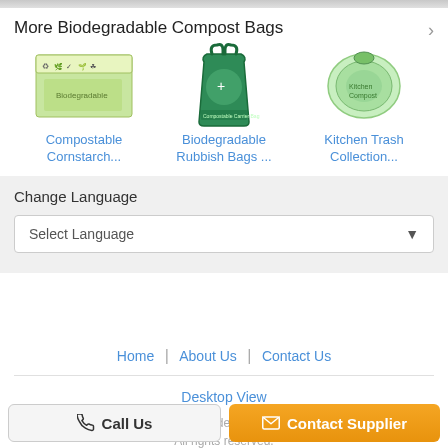More Biodegradable Compost Bags
[Figure (photo): Compostable cornstarch bag product image - green packaging]
Compostable Cornstarch...
[Figure (photo): Biodegradable rubbish bags product image - green tote bag]
Biodegradable Rubbish Bags ...
[Figure (photo): Kitchen trash collection bag product image - rolled green bag]
Kitchen Trash Collection...
Change Language
Select Language
Home | About Us | Contact Us
Desktop View
Copyright © 2019 - 2022 biodegradable-compostbags.com. All rights reserved.
Call Us
Contact Supplier